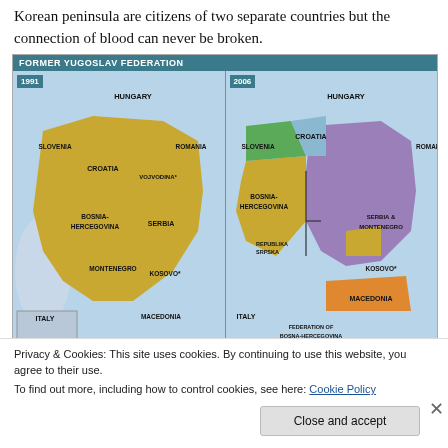Korean peninsula are citizens of two separate countries but the connection of blood can never be broken.
[Figure (map): Side-by-side comparison maps of the Former Yugoslav Federation in 1991 (unified, shown in gold) and 2006 (fragmented into Slovenia-green, Croatia-blue outline, Bosnia-Hercegovina-gold, Serbia & Montenegro-purple, Kosovo, Macedonia-orange, with Republika Srpska labeled), surrounded by neighboring countries Hungary, Romania, Italy.]
Privacy & Cookies: This site uses cookies. By continuing to use this website, you agree to their use.
To find out more, including how to control cookies, see here: Cookie Policy
Close and accept